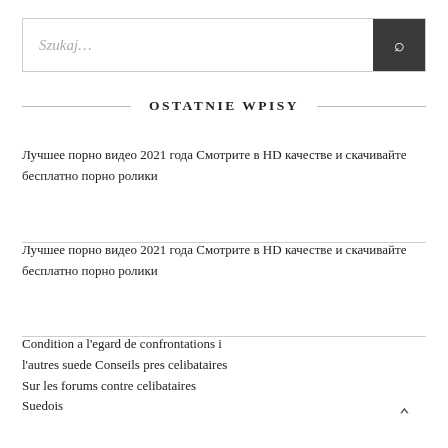Szukaj…
OSTATNIE WPISY
Лучшее порно видео 2021 года Смотрите в HD качестве и скачивайте бесплатно порно ролики
Лучшее порно видео 2021 года Смотрите в HD качестве и скачивайте бесплатно порно ролики
Condition a l'egard de confrontations i l'autres suede Conseils pres celibataires Sur les forums contre celibataires Suedois